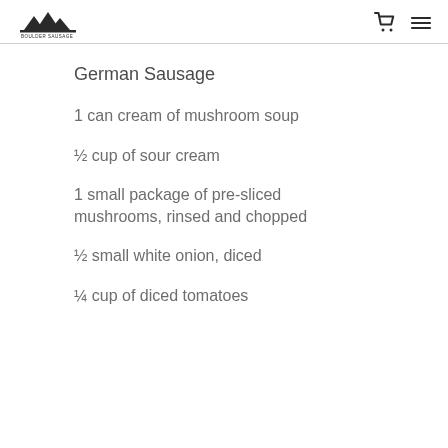Boulder Sausage
German Sausage
1 can cream of mushroom soup
½ cup of sour cream
1 small package of pre-sliced mushrooms, rinsed and chopped
½ small white onion, diced
¼ cup of diced tomatoes